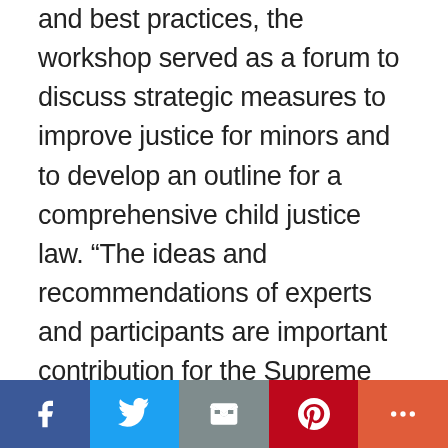and best practices, the workshop served as a forum to discuss strategic measures to improve justice for minors and to develop an outline for a comprehensive child justice law. “The ideas and recommendations of experts and participants are important contribution for the Supreme People’s Court to consider and propose the National Assembly Standing Committee to include the juvenile justice law project in the Law and Ordinance Development Program in 2023,” said Chief Justice Nguyen Hoa Binh. In the recent years, the Vietnamese government has made considerable effort to reform legislation pertaining to justice for minors in recent years. However,
[Figure (infographic): Social media share bar with Facebook (blue), Twitter (light blue), Email (grey), Pinterest (red), and More (orange-red) buttons]